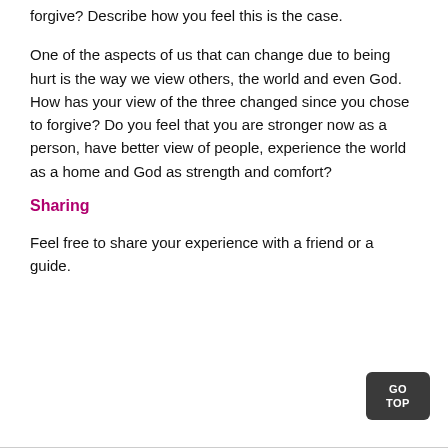forgive? Describe how you feel this is the case.
One of the aspects of us that can change due to being hurt is the way we view others, the world and even God. How has your view of the three changed since you chose to forgive? Do you feel that you are stronger now as a person, have better view of people, experience the world as a home and God as strength and comfort?
Sharing
Feel free to share your experience with a friend or a guide.